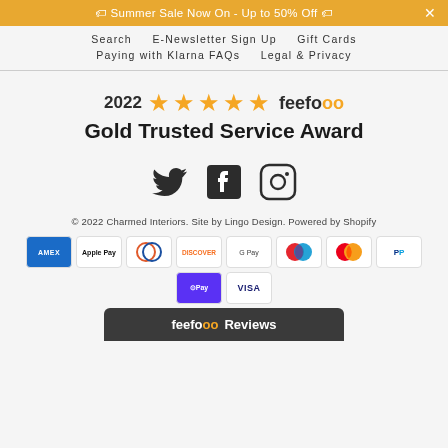🏷 Summer Sale Now On - Up to 50% Off 🏷  ×
Search   E-Newsletter Sign Up   Gift Cards
Paying with Klarna FAQs   Legal & Privacy
[Figure (logo): 2022 five-star feefo Gold Trusted Service Award badge with yellow stars and feefo logo]
[Figure (infographic): Social media icons: Twitter bird, Facebook F, Instagram camera]
© 2022 Charmed Interiors. Site by Lingo Design. Powered by Shopify
[Figure (infographic): Payment method logos: American Express, Apple Pay, Diners Club, Discover, Google Pay, Maestro, Mastercard, PayPal, Shop Pay, Visa]
[Figure (logo): feefo Reviews dark bar at bottom]